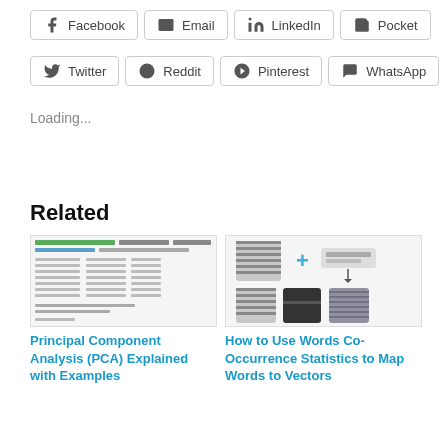Facebook
Email
LinkedIn
Pocket
Twitter
Reddit
Pinterest
WhatsApp
Loading...
Related
[Figure (screenshot): Screenshot of Principal Component Analysis code/output]
Principal Component Analysis (PCA) Explained with Examples
[Figure (photo): Fashion items with a plus sign showing word co-occurrence mapping illustration]
How to Use Words Co-Occurrence Statistics to Map Words to Vectors